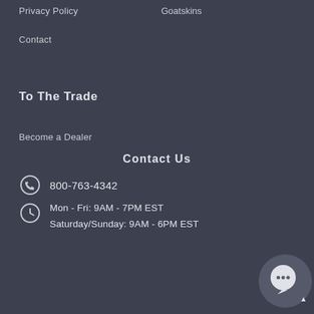Privacy Policy
Goatskins
Contact
To The Trade
Become a Dealer
Contact Us
800-763-4342
Mon - Fri: 9AM - 7PM EST
Saturday/Sunday: 9AM - 6PM EST
[Figure (illustration): Chat bubble icon with ellipsis in bottom-right corner]